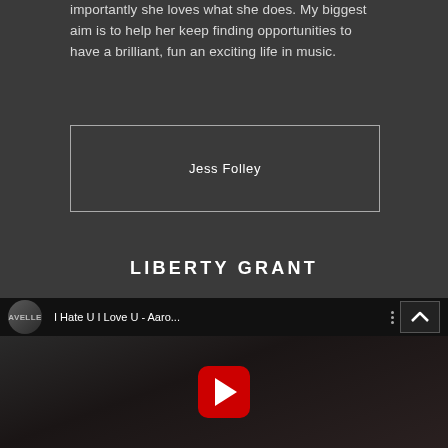importantly she loves what she does. My biggest aim is to help her keep finding opportunities to have a brilliant, fun an exciting life in music.
Jess Folley
LIBERTY GRANT
[Figure (screenshot): YouTube video embed showing 'I Hate U I Love U - Aaro...' by AVELLE channel, with play button overlay and two singers/musicians visible in the thumbnail]